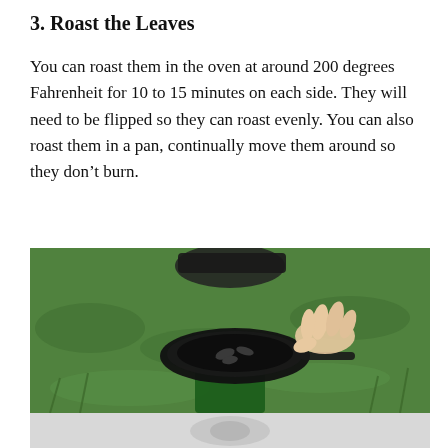3. Roast the Leaves
You can roast them in the oven at around 200 degrees Fahrenheit for 10 to 15 minutes on each side. They will need to be flipped so they can roast evenly. You can also roast them in a pan, continually move them around so they don’t burn.
[Figure (photo): A hand holding a pan over grass outdoors, with leaves being roasted in a small black pan placed on a camp stove, with green grass in the background.]
[Figure (photo): Partial view of another image below, faded/light, showing a blurred outdoor scene.]